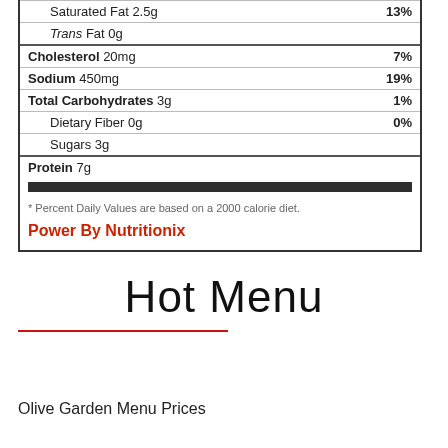| Nutrient | % Daily Value |
| --- | --- |
| Saturated Fat 2.5g | 13% |
| Trans Fat 0g |  |
| Cholesterol 20mg | 7% |
| Sodium 450mg | 19% |
| Total Carbohydrates 3g | 1% |
| Dietary Fiber 0g | 0% |
| Sugars 3g |  |
| Protein 7g |  |
* Percent Daily Values are based on a 2000 calorie diet.
Power By Nutritionix
Hot Menu
Olive Garden Menu Prices